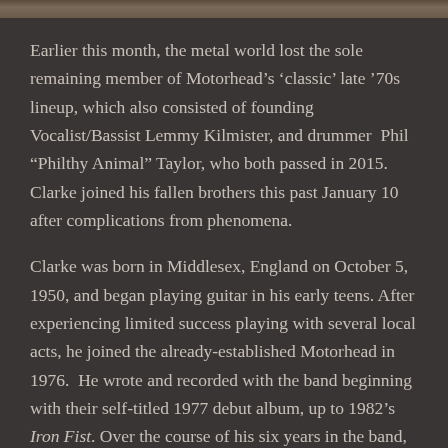[Figure (photo): Partial image strip at top of page, appearing to show a person or band-related photograph, cropped to a narrow horizontal strip.]
Earlier this month, the metal world lost the sole remaining member of Motorhead’s ‘classic’ late ’70s lineup, which also consisted of founding Vocalist/Bassist Lemmy Kilmister, and drummer Phil “Philthy Animal” Taylor, who both passed in 2015. Clarke joined his fallen brothers this past January 10 after complications from phenomena.
Clarke was born in Middlesex, England on October 5, 1950, and began playing guitar in his early teens. After experiencing limited success playing with several local acts, he joined the already-established Motorhead in 1976.  He wrote and recorded with the band beginning with their self-titled 1977 debut album, up to 1982’s Iron Fist. Over the course of his six years in the band,